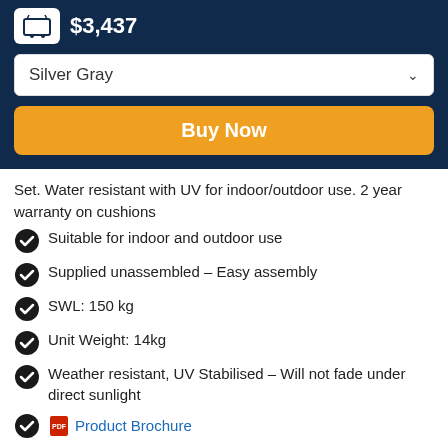$3,437
Silver Gray
Buy Now
Set. Water resistant with UV for indoor/outdoor use. 2 year warranty on cushions
Suitable for indoor and outdoor use
Supplied unassembled – Easy assembly
SWL: 150 kg
Unit Weight: 14kg
Weather resistant, UV Stabilised – Will not fade under direct sunlight
Product Brochure
Please Note: Product Sizes, Weights & Colours may vary and are subject to change.